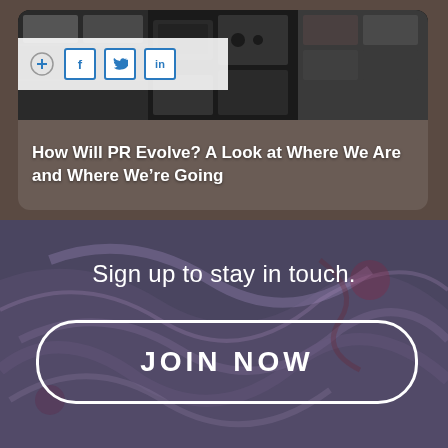[Figure (screenshot): A card with social share icons (f, Twitter bird, in) overlaid on a black-and-white photo collage of vintage electronics/radios/cassettes, with article title text below the image]
How Will PR Evolve? A Look at Where We Are and Where We're Going
[Figure (photo): Purple and grey marble/paint swirl abstract background for the signup section]
Sign up to stay in touch.
JOIN NOW